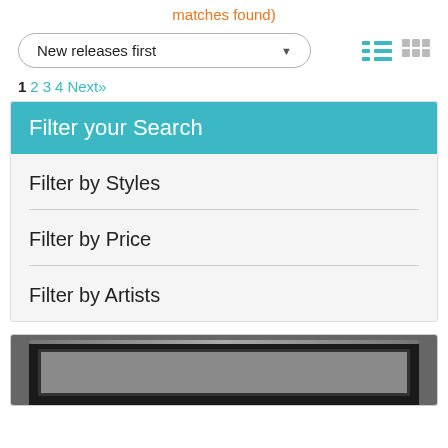matches found)
New releases first
1 2 3 4 Next»
Filter your Search
Filter by Styles
Filter by Price
Filter by Artists
[Figure (photo): Framed artwork product image, dark ornate frame, black and white photo]